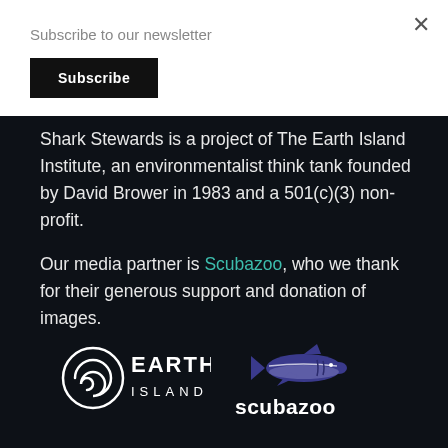Subscribe to our newsletter
Subscribe
Shark Stewards is a project of The Earth Island Institute, an environmentalist think tank founded by David Brower in 1983 and a 501(c)(3) non-profit.
Our media partner is Scubazoo, who we thank for their generous support and donation of images.
[Figure (logo): Earth Island Institute logo - circular spiral icon with EARTH ISLAND text in white on dark background, and Scubazoo logo with shark illustration and scubazoo text in white]